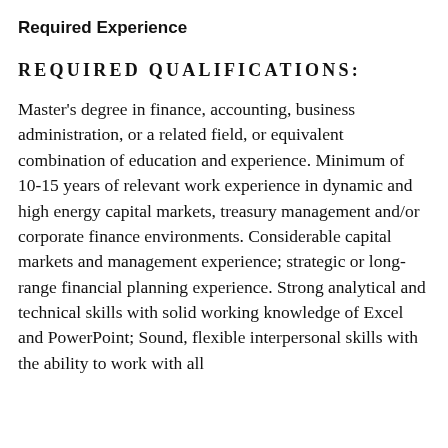Required Experience
REQUIRED QUALIFICATIONS:
Master's degree in finance, accounting, business administration, or a related field, or equivalent combination of education and experience. Minimum of 10-15 years of relevant work experience in dynamic and high energy capital markets, treasury management and/or corporate finance environments. Considerable capital markets and management experience; strategic or long-range financial planning experience. Strong analytical and technical skills with solid working knowledge of Excel and PowerPoint; Sound, flexible interpersonal skills with the ability to work with all